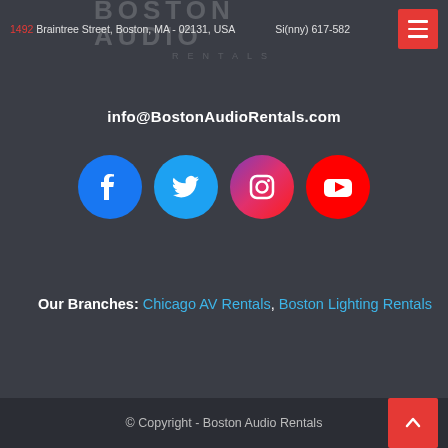1492 Braintree Street, Boston, MA - 02131, USA | Si(nny) 617-582 | info@BostonAudioRentals.com
[Figure (logo): Boston Audio Rentals logo watermark overlaid on header]
info@BostonAudioRentals.com
[Figure (illustration): Social media icons: Facebook (blue circle), Twitter (light blue circle), Instagram (pink/purple circle), YouTube (red circle)]
Our Branches: Chicago AV Rentals, Boston Lighting Rentals
© Copyright - Boston Audio Rentals